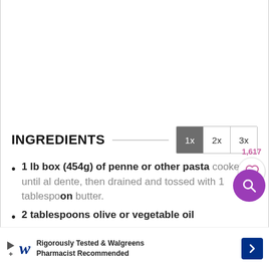INGREDIENTS
1 lb box (454g) of penne or other pasta cooked until al dente, then drained and tossed with 1 tablespoon butter.
2 tablespoons olive or vegetable oil
[Figure (other): Advertisement banner: Walgreens - Rigorously Tested & Walgreens Pharmacist Recommended]
[Figure (other): Like/heart button with count 1,617 and purple search button overlay]